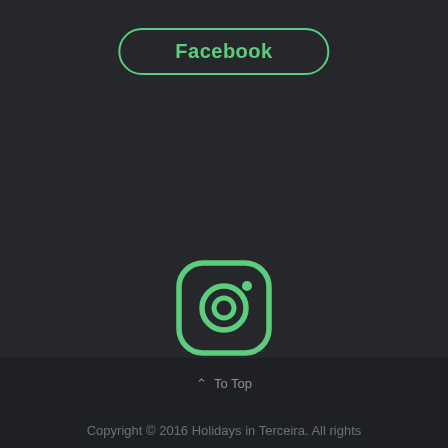[Figure (other): Facebook button with rounded border in green]
[Figure (other): Instagram logo icon in green outline style]
[Figure (other): Instagram button with rounded border in green]
∧  To Top
Copyright © 2016 Holidays in Terceira. All rights